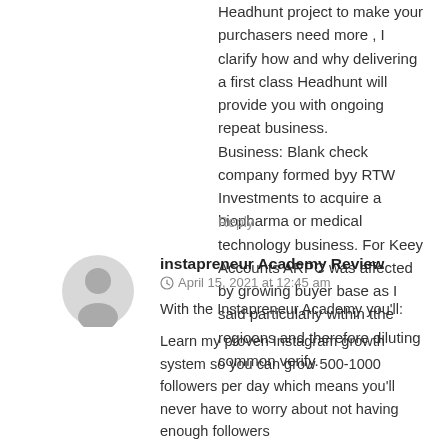Headhunt project to make your purchasers need more , I clarify how and why delivering a first class Headhunt will provide you with ongoing repeat business.
Business: Blank check company formed byy RTW Investments to acquire a
biopharma or medical technology business. For Keey Accounts ARPC was affected by growing buyer base as I said particularly within tthe regioons and therefore diluting common verify.
Reply
instapreneur Academy Review
April 15, 2021 at 12:45 am
With the Instapreneur Academy you'll:
Learn my proven Instagram growth system so you can grow 500-1000 followers per day which means you'll never have to worry about not having enough followers

Build a profitable Instagram business so you can reach financial independence which means you can fire your boss and break out of the 9-5 system

Create content like the top 1% of influencers so you